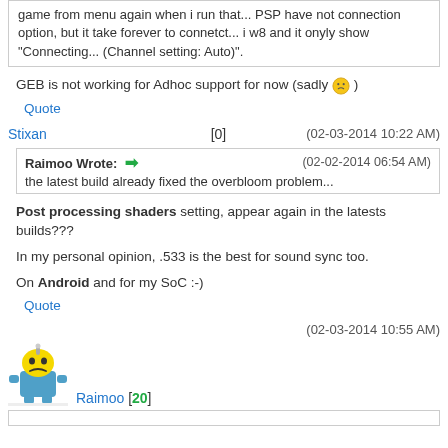game from menu again when i run that... PSP have not connection option, but it take forever to connetct... i w8 and it onyly show "Connecting... (Channel setting: Auto)".
GEB is not working for Adhoc support for now (sadly 😐 )
Quote
Stixan [0]
(02-03-2014 10:22 AM)
Raimoo Wrote: ➡ (02-02-2014 06:54 AM)
the latest build already fixed the overbloom problem...
Post processing shaders setting, appear again in the latests builds???
In my personal opinion, .533 is the best for sound sync too.
On Android and for my SoC :-)
Quote
(02-03-2014 10:55 AM)
[Figure (illustration): Yellow cartoon robot avatar with sad face]
Raimoo [20]